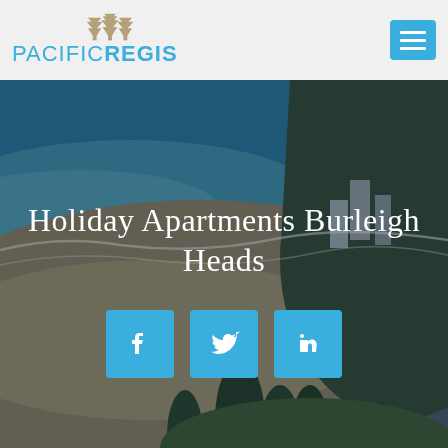[Figure (logo): Pacific Regis logo with pine trees above text]
[Figure (photo): Aerial photo of Burleigh Heads beach with ocean, sandy beach, pine trees and headland with buildings]
Holiday Apartments Burleigh Heads
[Figure (infographic): Social media share buttons: Facebook, Twitter, LinkedIn in blue squares]